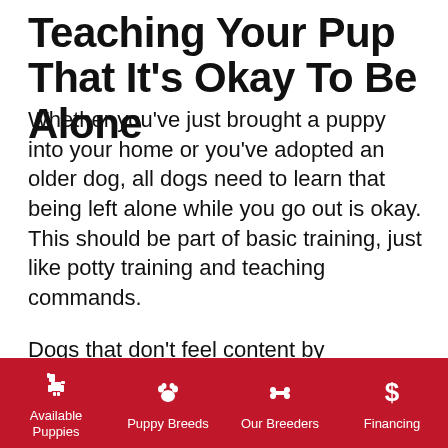Teaching Your Pup That It's Okay To Be Alone
Whether you've just brought a puppy into your home or you've adopted an older dog, all dogs need to learn that being left alone while you go out is okay. This should be part of basic training, just like potty training and teaching commands.
Dogs that don't feel content by themselves may become anxious and very emotional, which can result in them causing mayhem in your home. Not only is this bad for your home, but it can also put your dog at risk if
Available Puppies | Puppy Breeds | Our Breeders | Financing